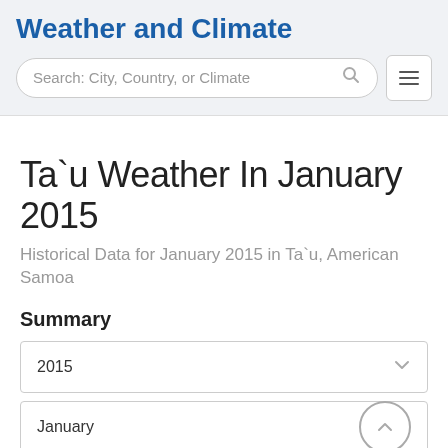Weather and Climate
Ta`u Weather In January 2015
Historical Data for January 2015 in Ta`u, American Samoa
Summary
2015
January